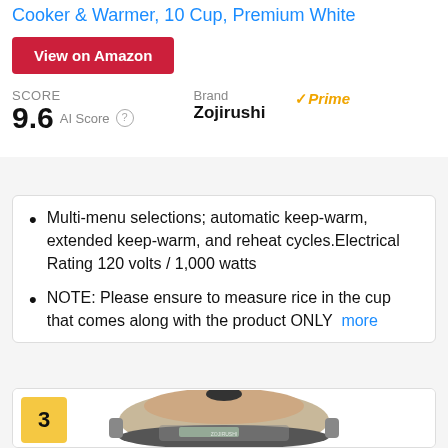Cooker & Warmer, 10 Cup, Premium White
View on Amazon
SCORE
9.6 AI Score
Brand
Zojirushi
Prime
Multi-menu selections; automatic keep-warm, extended keep-warm, and reheat cycles.Electrical Rating 120 volts / 1,000 watts
NOTE: Please ensure to measure rice in the cup that comes along with the product ONLY  more
[Figure (photo): Rice cooker product photo - metallic/champagne colored Zojirushi rice cooker, item #3]